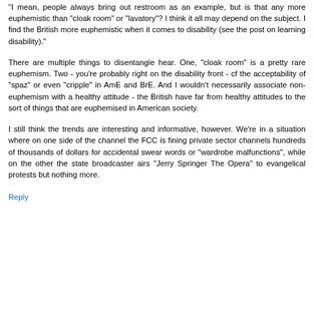"I mean, people always bring out restroom as an example, but is that any more euphemistic than "cloak room" or "lavatory"? I think it all may depend on the subject. I find the British more euphemistic when it comes to disability (see the post on learning disability)."
There are multiple things to disentangle hear. One, "cloak room" is a pretty rare euphemism. Two - you're probably right on the disability front - cf the acceptability of "spaz" or even "cripple" in AmE and BrE. And I wouldn't necessarily associate non-euphemism with a healthy attitude - the British have far from healthy attitudes to the sort of things that are euphemised in American society.
I still think the trends are interesting and informative, however. We're in a situation where on one side of the channel the FCC is fining private sector channels hundreds of thousands of dollars for accidental swear words or "wardrobe malfunctions", while on the other the state broadcaster airs "Jerry Springer The Opera" to evangelical protests but nothing more.
Reply